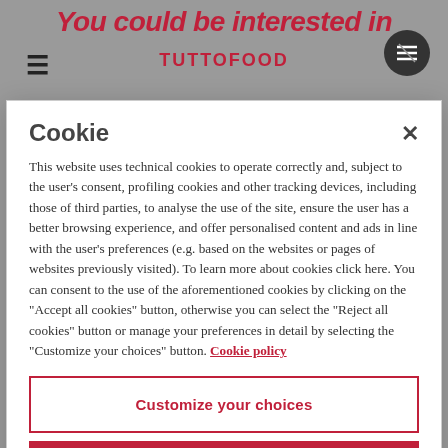You could be interested in
TUTTOFOOD
Cookie
This website uses technical cookies to operate correctly and, subject to the user's consent, profiling cookies and other tracking devices, including those of third parties, to analyse the use of the site, ensure the user has a better browsing experience, and offer personalised content and ads in line with the user's preferences (e.g. based on the websites or pages of websites previously visited). To learn more about cookies click here. You can consent to the use of the aforementioned cookies by clicking on the "Accept all cookies" button, otherwise you can select the "Reject all cookies" button or manage your preferences in detail by selecting the "Customize your choices" button. Cookie policy
Customize your choices
Accept all cookies